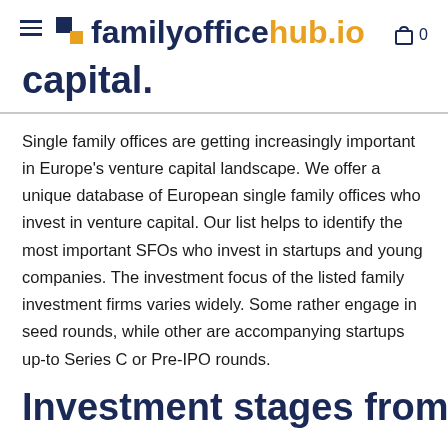familyofficehub.io
Capital (partial, cropped at top)
Single family offices are getting increasingly important in Europe's venture capital landscape. We offer a unique database of European single family offices who invest in venture capital. Our list helps to identify the most important SFOs who invest in startups and young companies. The investment focus of the listed family investment firms varies widely. Some rather engage in seed rounds, while other are accompanying startups up-to Series C or Pre-IPO rounds.
Investment stages from Seed... (partial, cropped at bottom)